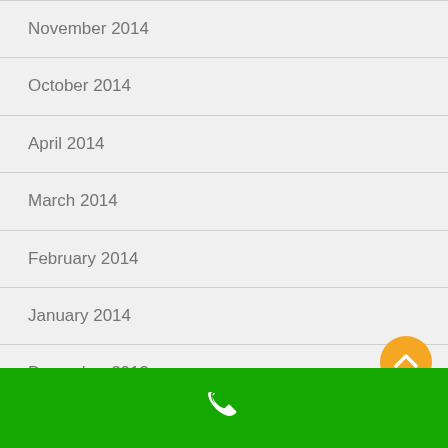November 2014
October 2014
April 2014
March 2014
February 2014
January 2014
December 2013
phone icon, green bar footer